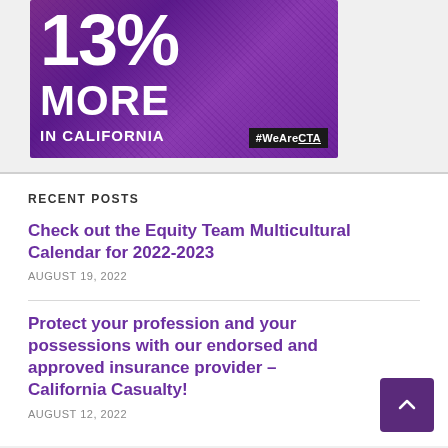[Figure (illustration): Purple banner ad showing '13% MORE IN CALIFORNIA #WeAreCTA' with decorative currency bill background pattern]
RECENT POSTS
Check out the Equity Team Multicultural Calendar for 2022-2023
AUGUST 19, 2022
Protect your profession and your possessions with our endorsed and approved insurance provider – California Casualty!
AUGUST 12, 2022